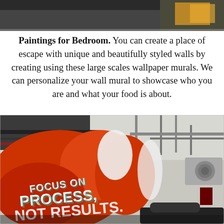[Figure (photo): Top portion of a photo visible at the top of the page, appears to be a dark interior or mural scene]
Paintings for Bedroom. You can create a place of escape with unique and beautifully styled walls by creating using these large scales wallpaper murals. We can personalize your wall mural to showcase who you are and what your food is about.
[Figure (photo): Photo of an industrial interior space with exposed ceiling pipes and ducts, featuring a large colorful wall mural with orange/red paint splash design and bold text reading 'FOCUS ON PROCESS, NOT RESULTS.' An air conditioning unit is visible on the right wall, and a dark car is partially visible at the bottom.]